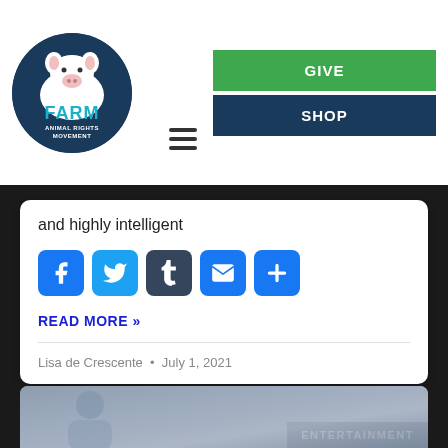[Figure (logo): FARM Animal Rights Movement logo — dark navy circle with white pig illustration and teal FARM text]
[Figure (other): Navigation buttons: hamburger menu icon, green GIVE button, dark navy SHOP button]
and highly intelligent
[Figure (other): Social share icons: Facebook, Twitter, Tumblr, Email, Plus/More]
READ MORE »
Lisa de Crescente  •  July 1, 2021
[Figure (photo): Partial photo of a person in a blue/grey hoodie, with an ENTERTAINMENT badge overlay in the lower right]